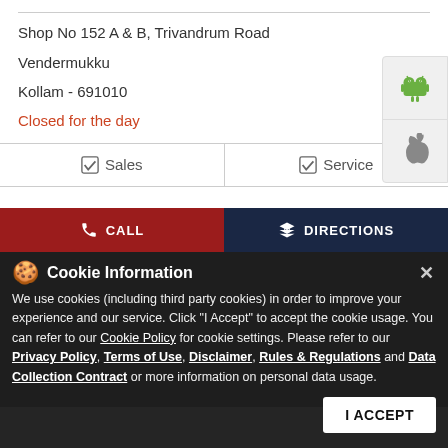Shop No 152 A & B, Trivandrum Road
Vendermukku
Kollam - 691010
Closed for the day
| ☑ Sales | ☑ Service |
[Figure (screenshot): Android app download button with Android robot icon]
[Figure (screenshot): Apple iOS app download button with Apple logo icon]
CALL
DIRECTIONS
Cookie Information
We use cookies (including third party cookies) in order to improve your experience and our service. Click "I Accept" to accept the cookie usage. You can refer to our Cookie Policy for cookie settings. Please refer to our Privacy Policy, Terms of Use, Disclaimer, Rules & Regulations and Data Collection Contract or more information on personal data usage.
I ACCEPT